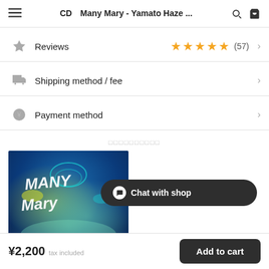CD Many Mary - Yamato Haze ...
Reviews ★★★★★ (57)
Shipping method / fee
Payment method
□□□□□□□□□□
[Figure (photo): CD album cover for Many Mary - Yamato Haze, showing stylized graffiti-style text on a blue-green teal background with abstract shapes]
Chat with shop
¥2,200 tax included  Add to cart